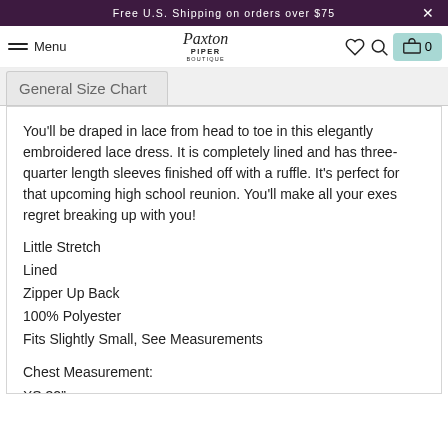Free U.S. Shipping on orders over $75
Menu | Paxton Piper Boutique | 0
General Size Chart
You'll be draped in lace from head to toe in this elegantly embroidered lace dress. It is completely lined and has three-quarter length sleeves finished off with a ruffle. It's perfect for that upcoming high school reunion. You'll make all your exes regret breaking up with you!
Little Stretch
Lined
Zipper Up Back
100% Polyester
Fits Slightly Small, See Measurements
Chest Measurement:
XS 32"